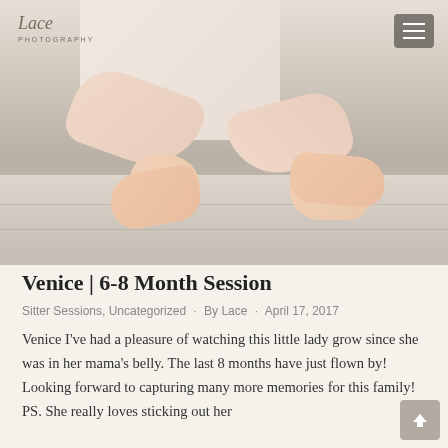[Figure (photo): Close-up photograph of a baby sitting on a light-colored wooden floor. The image shows the baby's torso, arms, hands, and bare feet. The baby is wearing a white outfit with ruffled details. A 'Lace Photography' logo watermark appears in the upper left corner. A hamburger menu icon appears in the upper right corner.]
Venice | 6-8 Month Session
Sitter Sessions, Uncategorized · By Lace · April 17, 2017
Venice I've had a pleasure of watching this little lady grow since she was in her mama's belly. The last 8 months have just flown by! Looking forward to capturing many more memories for this family! PS. She really loves sticking out her